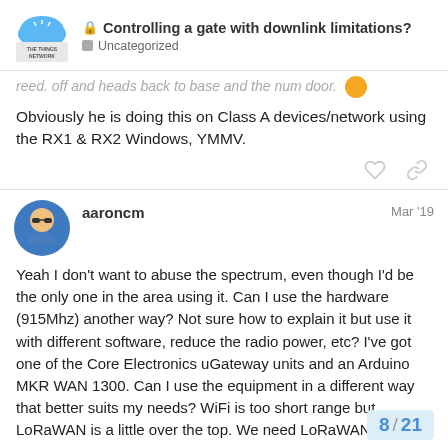Controlling a gate with downlink limitations? — Uncategorized
reed. off and heads back to base and the num door.
Obviously he is doing this on Class A devices/network using the RX1 & RX2 Windows, YMMV.
aaroncm — Mar '19
Yeah I don't want to abuse the spectrum, even though I'd be the only one in the area using it. Can I use the hardware (915Mhz) another way? Not sure how to explain it but use it with different software, reduce the radio power, etc? I've got one of the Core Electronics uGateway units and an Arduino MKR WAN 1300. Can I use the equipment in a different way that better suits my needs? WiFi is too short range but LoRaWAN is a little over the top. We need LoRaWAN Lite.
8 / 21